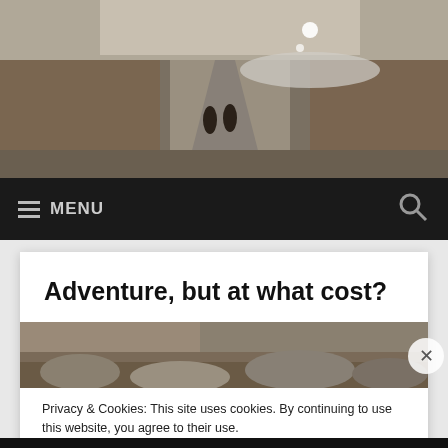[Figure (photo): Two people walking along a mountain road with a river and rocky landscape in the background.]
≡ MENU
Adventure, but at what cost?
[Figure (photo): Partial view of rocky terrain, article thumbnail image.]
Privacy & Cookies: This site uses cookies. By continuing to use this website, you agree to their use.
To find out more, including how to control cookies, see here: Cookie Policy
Close and accept